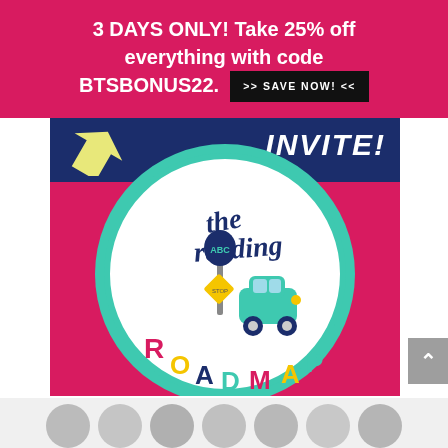3 DAYS ONLY! Take 25% off everything with code BTSBONUS22. >> SAVE NOW! <<
[Figure (illustration): Educational product logo: 'the reading ROADMAP' circular logo with a cartoon car, ABC street sign, and colorful lettering on a pink/crimson background with a dark navy top strip showing 'INVITE!' text and a yellow arrow.]
[Figure (photo): Row of partially visible people's heads/profile photos at the bottom of the page.]